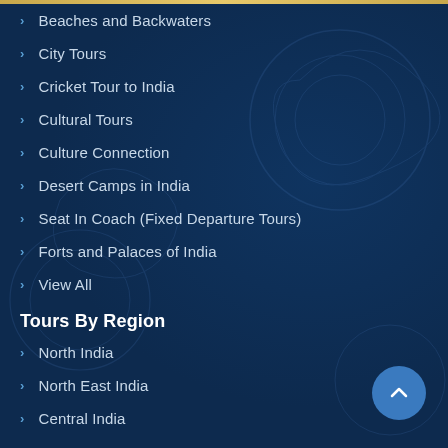Beaches and Backwaters
City Tours
Cricket Tour to India
Cultural Tours
Culture Connection
Desert Camps in India
Seat In Coach (Fixed Departure Tours)
Forts and Palaces of India
View All
Tours By Region
North India
North East India
Central India